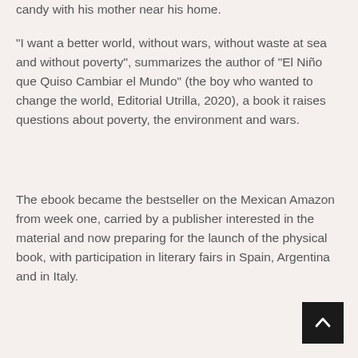candy with his mother near his home.
“I want a better world, without wars, without waste at sea and without poverty”, summarizes the author of “El Niño que Quiso Cambiar el Mundo” (the boy who wanted to change the world, Editorial Utrilla, 2020), a book it raises questions about poverty, the environment and wars.
The ebook became the bestseller on the Mexican Amazon from week one, carried by a publisher interested in the material and now preparing for the launch of the physical book, with participation in literary fairs in Spain, Argentina and in Italy.
[Figure (other): Back to top button arrow icon, black square with white upward chevron arrow]